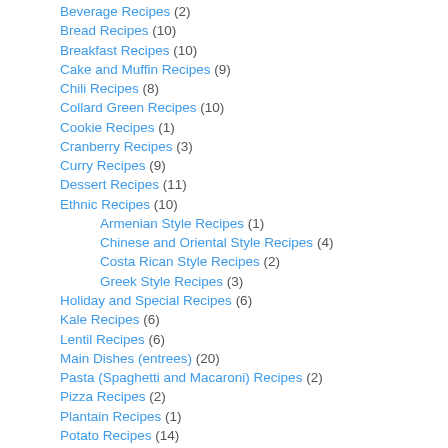Beverage Recipes (2)
Bread Recipes (10)
Breakfast Recipes (10)
Cake and Muffin Recipes (9)
Chili Recipes (8)
Collard Green Recipes (10)
Cookie Recipes (1)
Cranberry Recipes (3)
Curry Recipes (9)
Dessert Recipes (11)
Ethnic Recipes (10)
Armenian Style Recipes (1)
Chinese and Oriental Style Recipes (4)
Costa Rican Style Recipes (2)
Greek Style Recipes (3)
Holiday and Special Recipes (6)
Kale Recipes (6)
Lentil Recipes (6)
Main Dishes (entrees) (20)
Pasta (Spaghetti and Macaroni) Recipes (2)
Pizza Recipes (2)
Plantain Recipes (1)
Potato Recipes (14)
Rice Recipes (9)
Salads and Dressings (2)